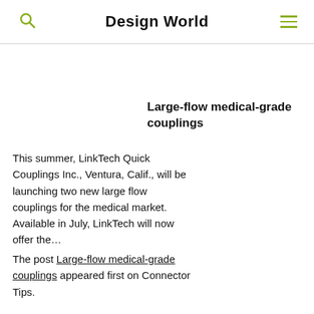Design World
Large-flow medical-grade couplings
This summer, LinkTech Quick Couplings Inc., Ventura, Calif., will be launching two new large flow couplings for the medical market. Available in July, LinkTech will now offer the…
The post Large-flow medical-grade couplings appeared first on Connector Tips.